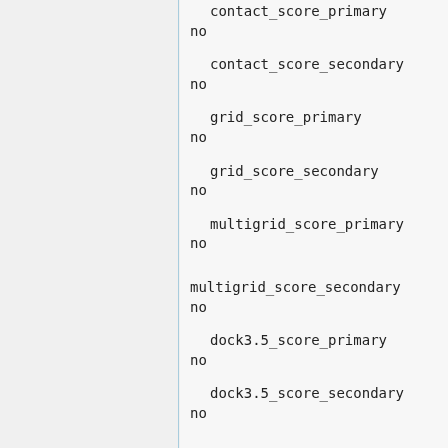contact_score_primary
no
contact_score_secondary
no
grid_score_primary
no
grid_score_secondary
no
multigrid_score_primary
no
multigrid_score_secondary
no
dock3.5_score_primary
no
dock3.5_score_secondary
no